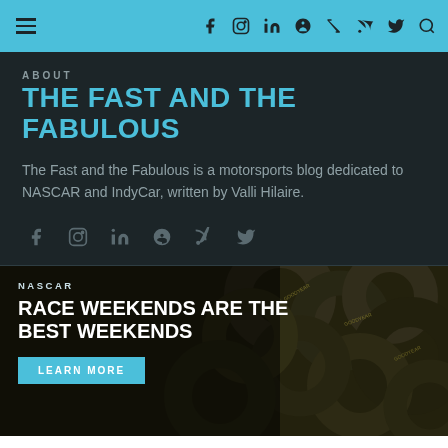Navigation bar with hamburger menu and social icons (Facebook, Instagram, LinkedIn, Pinterest, RSS, Twitter, Search)
ABOUT
THE FAST AND THE FABULOUS
The Fast and the Fabulous is a motorsports blog dedicated to NASCAR and IndyCar, written by Valli Hilaire.
[Figure (other): Social media icons row: Facebook, Instagram, LinkedIn, Pinterest, RSS, Twitter]
[Figure (photo): Photo of stacked NASCAR racing tires (Goodyear) in a garage/pit area setting]
NASCAR
RACE WEEKENDS ARE THE BEST WEEKENDS
LEARN MORE